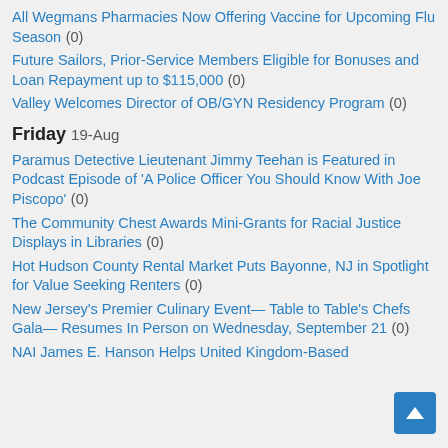All Wegmans Pharmacies Now Offering Vaccine for Upcoming Flu Season (0)
Future Sailors, Prior-Service Members Eligible for Bonuses and Loan Repayment up to $115,000 (0)
Valley Welcomes Director of OB/GYN Residency Program (0)
Friday 19-Aug
Paramus Detective Lieutenant Jimmy Teehan is Featured in Podcast Episode of 'A Police Officer You Should Know With Joe Piscopo' (0)
The Community Chest Awards Mini-Grants for Racial Justice Displays in Libraries (0)
Hot Hudson County Rental Market Puts Bayonne, NJ in Spotlight for Value Seeking Renters (0)
New Jersey's Premier Culinary Event— Table to Table's Chefs Gala— Resumes In Person on Wednesday, September 21 (0)
NAI James E. Hanson Helps United Kingdom-Based